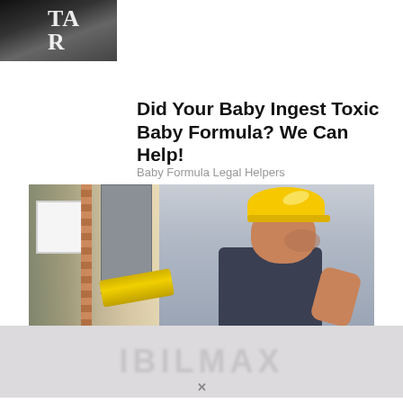[Figure (photo): Partial image of a book or sign with letters 'TA' and 'R' visible, dark background, top-left corner of page]
Did Your Baby Ingest Toxic Baby Formula? We Can Help!
Baby Formula Legal Helpers
[Figure (photo): Photo of a male worker wearing a yellow hard hat and dark t-shirt, crouching near HVAC or electrical equipment on a rooftop]
[Figure (photo): Blurred/obscured advertisement image with text partially visible, appearing as a banner ad at the bottom of the page]